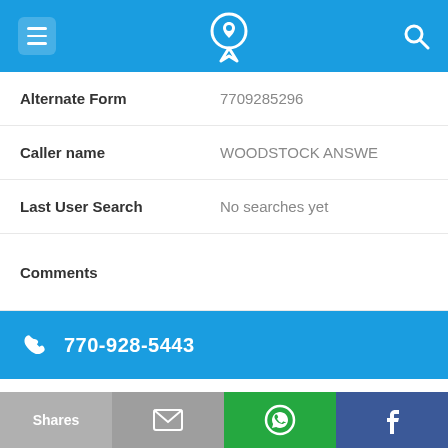Navigation bar with menu, phone/location icon, search icon
| Field | Value |
| --- | --- |
| Alternate Form | 7709285296 |
| Caller name | WOODSTOCK ANSWE |
| Last User Search | No searches yet |
| Comments |  |
770-928-5443
| Field | Value |
| --- | --- |
| Alternate Form | 7709285443 |
| Caller name | WOODSTOCK ANSWE |
Shares | [email] | [WhatsApp] | [Facebook]